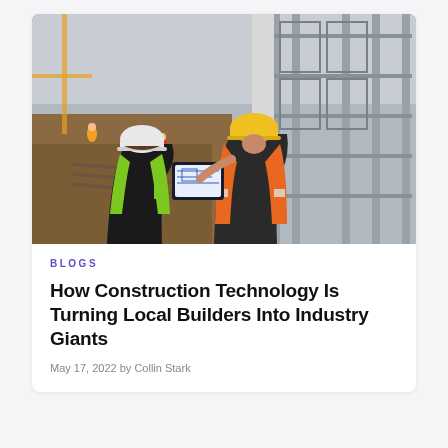[Figure (photo): Two construction workers in hard hats (one white, one yellow) and safety vests (green and orange) viewed from behind, looking at a tablet at a large construction site with scaffolding, rebar, and other workers in the background.]
BLOGS
How Construction Technology Is Turning Local Builders Into Industry Giants
May 17, 2022 by Collin Stark